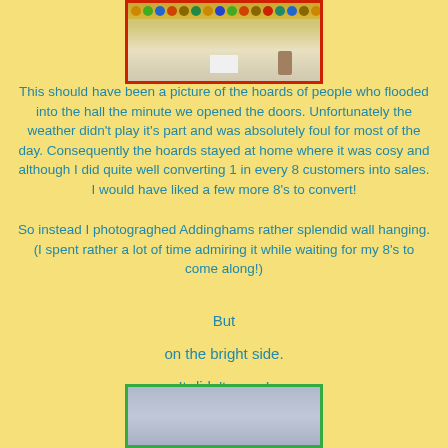[Figure (screenshot): Top portion of a screenshot showing an icon/toolbar bar at the top with various colored icons on a yellowish-brown background, and a partial view of a webpage with a white rectangle and small figure visible.]
This should have been a picture of the hoards of people who flooded into the hall the minute we opened the doors. Unfortunately the weather didn't play it's part and was absolutely foul for most of the day. Consequently the hoards stayed at home where it was cosy and although I did quite well converting 1 in every 8 customers into sales. I would have liked a few more 8's to convert!
So instead I photograghed Addinghams rather splendid wall hanging. (I spent rather a lot of time admiring it while waiting for my 8's to come along!)
But
on the bright side.
It didn't snow!
[Figure (photo): Bottom portion of a photo showing a grey/blue sky, bordered with a green frame.]